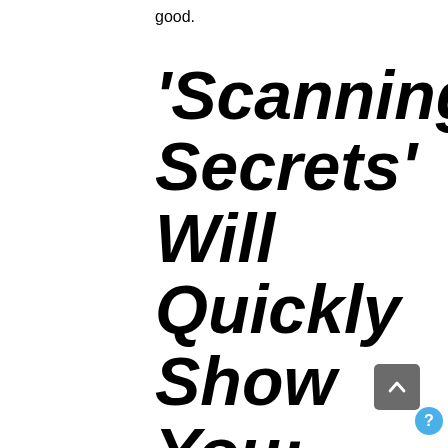good.
'Scanning Secrets' Will Quickly Show You: